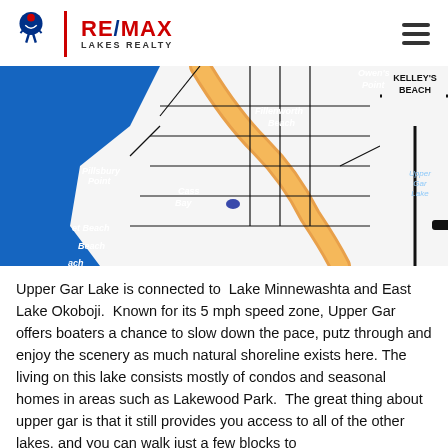RE/MAX LAKES REALTY
[Figure (map): Map of upper Gar Lake area showing Pillsbury Point, Cass Bay, Fillenworth Beach, Owen's Point, Kruse's Beach, Upper Gar Lake, and surrounding areas with roads and water bodies in blue with orange highway overlay. KELLEY'S BEACH label visible at top right.]
Upper Gar Lake is connected to Lake Minnewashta and East Lake Okoboji. Known for its 5 mph speed zone, Upper Gar offers boaters a chance to slow down the pace, putz through and enjoy the scenery as much natural shoreline exists here. The living on this lake consists mostly of condos and seasonal homes in areas such as Lakewood Park. The great thing about upper gar is that it still provides you access to all of the other lakes, and you can walk just a few blocks to